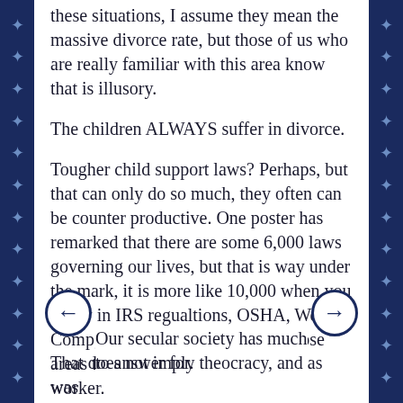these situations, I assume they mean the massive divorce rate, but those of us who are really familiar with this area know that is illusory.
The children ALWAYS suffer in divorce.
Tougher child support laws? Perhaps, but that can only do so much, they often can be counter productive. One poster has remarked that there are some 6,000 laws governing our lives, but that is way under the mark, it is more like 10,000 when you throw in IRS regualtions, OSHA, Work Comp, and the rest. And even in those areas the odds are often against the worker.
Our secular society has much to answer for.
That does not imply theocracy, and as was